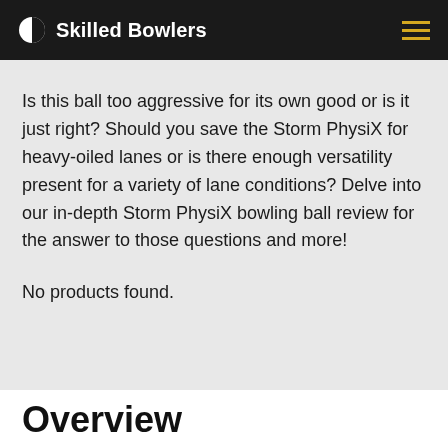Skilled Bowlers
Is this ball too aggressive for its own good or is it just right? Should you save the Storm PhysiX for heavy-oiled lanes or is there enough versatility present for a variety of lane conditions? Delve into our in-depth Storm PhysiX bowling ball review for the answer to those questions and more!
No products found.
Overview